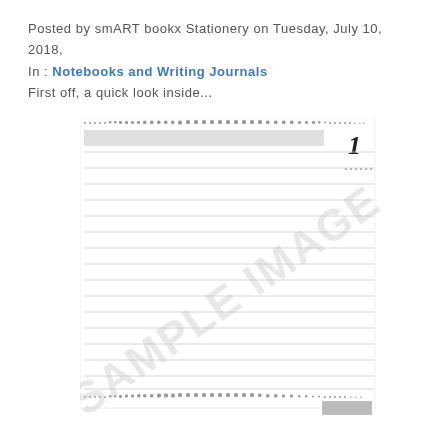Posted by smART bookx Stationery on Tuesday, July 10, 2018,
In : Notebooks and Writing Journals
First off, a quick look inside...
[Figure (photo): A sample image of the inside of a lined notebook page, showing ruled lines, a top dotted perforation border, a bottom dotted perforation border, a number '1' in the upper right area, a highlighted gray top line, and a 'SAMPLE IMAGE' watermark overlaid diagonally across the notebook page. A small gray rectangle appears at the bottom right corner.]